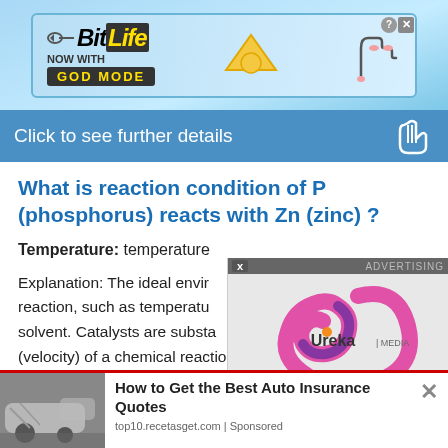[Figure (screenshot): BitLife advertisement banner with 'NOW WITH GOD MODE' text on blue background]
Click to see further details
What is reaction condition of P (phosphorus) reacts with Zn (zinc) ?
Temperature: temperature
Explanation: The ideal environment of a chemical reaction, such as temperature, pressure, catalysts, and solvent. Catalysts are substances that increase rate (velocity) of a chemical reaction without being consumed
[Figure (logo): Ureka Media logo - pink/magenta swirl with text 'Ureka | MEDIA' and Xem Them button]
[Figure (screenshot): Bottom advertisement: How to Get the Best Auto Insurance Quotes from top10.recetasget.com with car crash image]